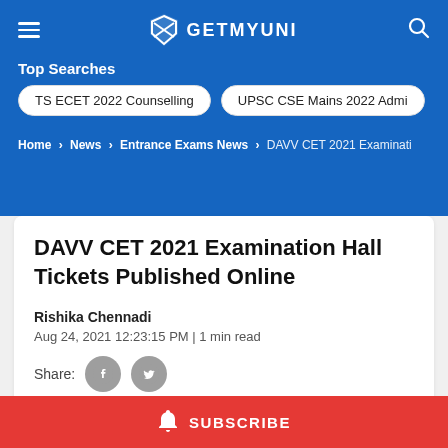GETMYUNI
Top Searches
TS ECET 2022 Counselling
UPSC CSE Mains 2022 Admi
Home > News > Entrance Exams News > DAVV CET 2021 Examinati
DAVV CET 2021 Examination Hall Tickets Published Online
Rishika Chennadi
Aug 24, 2021 12:23:15 PM | 1 min read
Share:
SUBSCRIBE